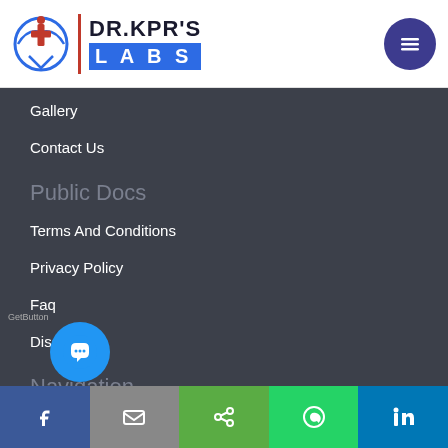[Figure (logo): DR.KPR'S LABS logo with icon and hamburger menu button]
Gallery
Contact Us
Public Docs
Terms And Conditions
Privacy Policy
Faq
Disclaimer
Navigation
Ideology And Philosophy
Report Delivery
Pa...ical Diploma Courses
Facebook | Email | Share | WhatsApp | LinkedIn